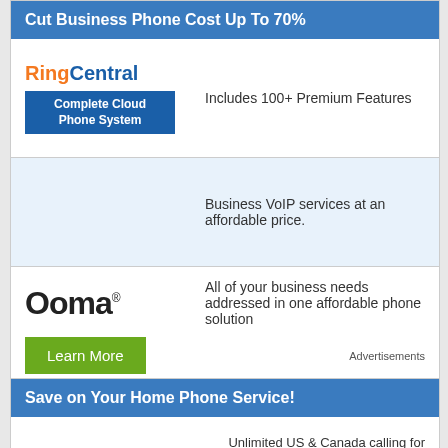Cut Business Phone Cost Up To 70%
[Figure (logo): RingCentral logo with orange 'Ring' and blue 'Central' text, below a blue badge reading 'Complete Cloud Phone System']
Includes 100+ Premium Features
Business VoIP services at an affordable price.
[Figure (logo): Ooma logo in large bold black text with registered trademark symbol]
All of your business needs addressed in one affordable phone solution
Learn More
Advertisements
Save on Your Home Phone Service!
Unlimited US & Canada calling for